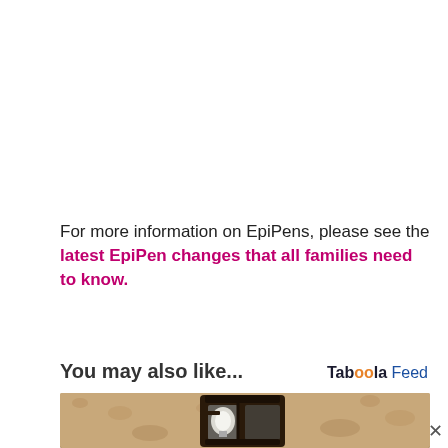For more information on EpiPens, please see the latest EpiPen changes that all families need to know.
You may also like...
[Figure (photo): Photo of an outdoor wall-mounted lantern light fixture with a bulb visible inside, against a textured stucco wall]